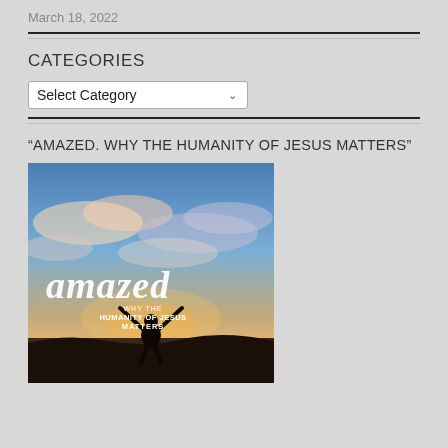March 18, 2022
CATEGORIES
Select Category
“AMAZED. WHY THE HUMANITY OF JESUS MATTERS”
[Figure (illustration): Book cover for 'amazed: Why the Humanity of Jesus Matters' showing a person with arms raised against a sky with clouds and sunset colors. White cursive text reads 'amazed' and smaller text reads 'WHY THE HUMANITY OF JESUS MATTERS'.]